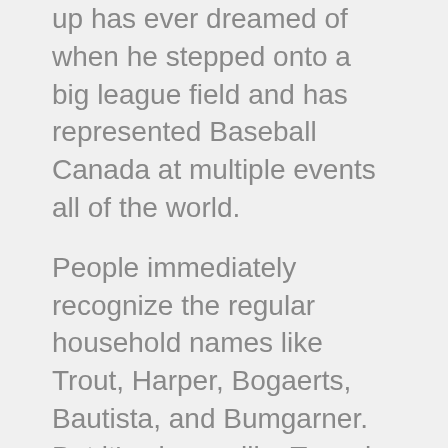up has ever dreamed of when he stepped onto a big league field and has represented Baseball Canada at multiple events all of the world.
People immediately recognize the regular household names like Trout, Harper, Bogaerts, Bautista, and Bumgarner. But it's players like Tosoni that really never get the credit they truly deserve.
The GM's Perspective: It's been a couple years since the last time we spoke, and you've spent time in